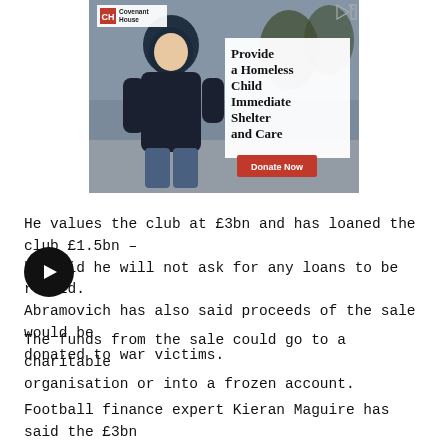[Figure (photo): Advertisement for Covenant House showing a young person in a dark hoodie standing on a street. Text overlay reads: 'Provide a Homeless Child Immediate Shelter and Care' with a red 'Donate Now' button.]
He values the club at £3bn and has loaned the club £1.5bn – he said he will not ask for any loans to be repaid. Abramovich has also said proceeds of the sale would be donated to war victims.
The funds from the sale could go to a charitable organisation or into a frozen account.
Football finance expert Kieran Maguire has said the £3bn